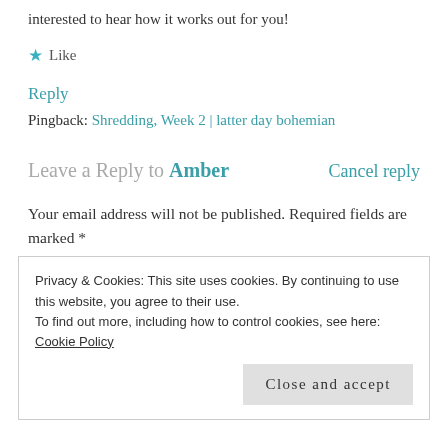interested to hear how it works out for you!
★ Like
Reply
Pingback: Shredding, Week 2 | latter day bohemian
Leave a Reply to Amber    Cancel reply
Your email address will not be published. Required fields are marked *
Privacy & Cookies: This site uses cookies. By continuing to use this website, you agree to their use. To find out more, including how to control cookies, see here: Cookie Policy
Close and accept